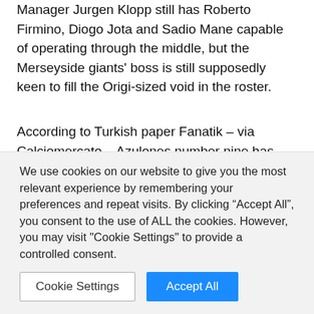Manager Jurgen Klopp still has Roberto Firmino, Diogo Jota and Sadio Mane capable of operating through the middle, but the Merseyside giants' boss is still supposedly keen to fill the Origi-sized void in the roster.
According to Turkish paper Fanatik – via Calciomercato – Azulones number nine has been identified as a possible signing, with the 24-year-old star impressing in La Liga this term.
He has struck 15 goals in 32 La Liga games for his bottom-half side in the 2021-22 season, including strikes versus the likes of
We use cookies on our website to give you the most relevant experience by remembering your preferences and repeat visits. By clicking "Accept All", you consent to the use of ALL the cookies. However, you may visit "Cookie Settings" to provide a controlled consent.